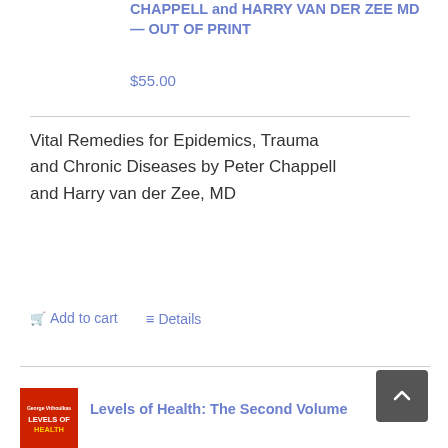CHAPPELL and HARRY VAN DER ZEE MD — OUT OF PRINT
$55.00
Vital Remedies for Epidemics, Trauma and Chronic Diseases by Peter Chappell and Harry van der Zee, MD
Add to cart
Details
Levels of Health: The Second Volume